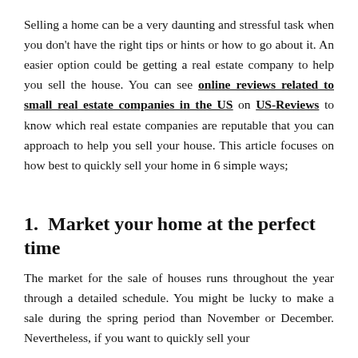Selling a home can be a very daunting and stressful task when you don't have the right tips or hints or how to go about it. An easier option could be getting a real estate company to help you sell the house. You can see online reviews related to small real estate companies in the US on US-Reviews to know which real estate companies are reputable that you can approach to help you sell your house. This article focuses on how best to quickly sell your home in 6 simple ways;
1. Market your home at the perfect time
The market for the sale of houses runs throughout the year through a detailed schedule. You might be lucky to make a sale during the spring period than November or December. Nevertheless, if you want to quickly sell your